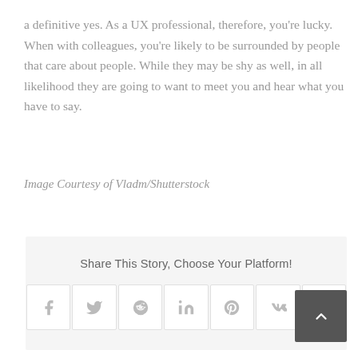a definitive yes. As a UX professional, therefore, you're lucky. When with colleagues, you're likely to be surrounded by people that care about people. While they may be shy as well, in all likelihood they are going to want to meet you and hear what you have to say.
Image Courtesy of Vladm/Shutterstock
Share This Story, Choose Your Platform!
[Figure (infographic): Social media share icons: Facebook, Twitter, Reddit, LinkedIn, Pinterest, VK, Email, and a scroll-to-top button]